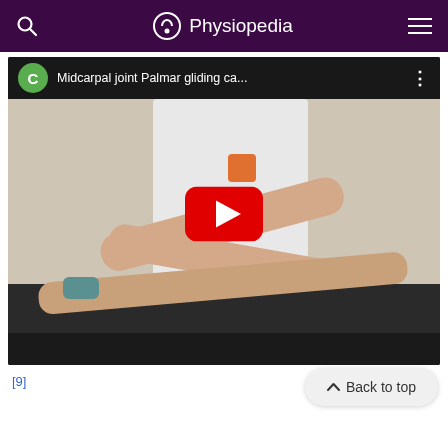Physiopedia
[Figure (screenshot): YouTube video thumbnail showing a physiotherapist performing a Midcarpal joint Palmar gliding technique on a patient. Video title: 'Midcarpal joint Palmar gliding ca...' with a red YouTube play button in the center. Channel icon shows letter C on green circle background.]
[9]